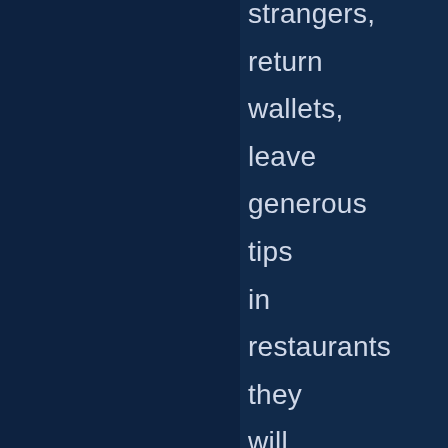strangers, return wallets, leave generous tips in restaurants they will never visit again, give donations to public radio when theory would predict they